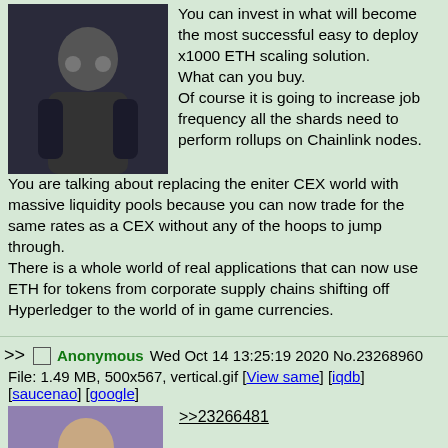You can invest in what will become the most successful easy to deploy x1000 ETH scaling solution.
What can you buy.
Of course it is going to increase job frequency all the shards need to perform rollups on Chainlink nodes.
You are talking about replacing the eniter CEX world with massive liquidity pools because you can now trade for the same rates as a CEX without any of the hoops to jump through.
There is a whole world of real applications that can now use ETH for tokens from corporate supply chains shifting off Hyperledger to the world of in game currencies.
>> Anonymous Wed Oct 14 13:25:19 2020 No.23268960
File: 1.49 MB, 500x567, vertical.gif [View same] [iqdb]
[saucenao] [google]
>>23266481
[Figure (photo): Person in dark clothing holding something, dark background]
[Figure (photo): Man with beard wearing plaid shirt]